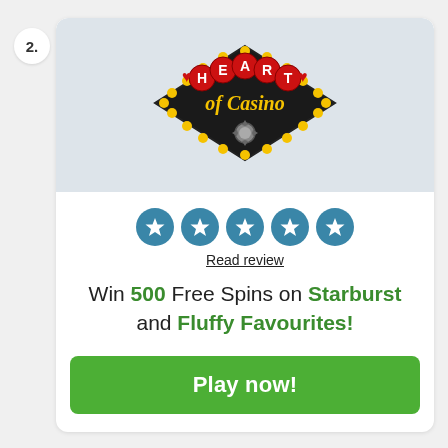2.
[Figure (logo): Heart of Casino logo: casino-style sign with red hearts, gold/yellow border lights, and 'Heart of Casino' text in red and gold on dark background]
[Figure (other): Five teal/blue star rating circles each containing a white star icon]
Read review
Win 500 Free Spins on Starburst and Fluffy Favourites!
Play now!